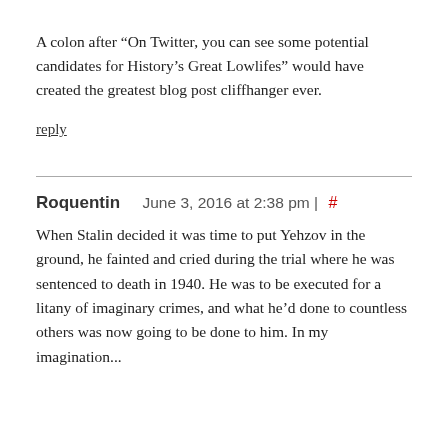A colon after “On Twitter, you can see some potential candidates for History’s Great Lowlifes” would have created the greatest blog post cliffhanger ever.
reply
Roquentin    June 3, 2016 at 2:38 pm | #
When Stalin decided it was time to put Yehzov in the ground, he fainted and cried during the trial where he was sentenced to death in 1940. He was to be executed for a litany of imaginary crimes, and what he’d done to countless others was now going to be done to him. In my imagination...